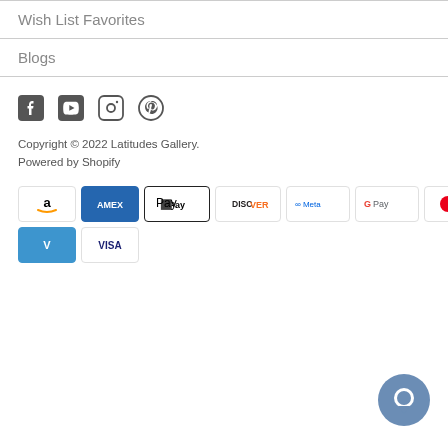Wish List Favorites
Blogs
[Figure (other): Social media icons: Facebook, YouTube, Instagram, Pinterest]
Copyright © 2022 Latitudes Gallery.
Powered by Shopify
[Figure (other): Payment method icons: Amazon, Amex, Apple Pay, Discover, Meta, Google Pay, Mastercard, PayPal, Venmo, Visa]
[Figure (other): Chat bubble icon (blue circle)]